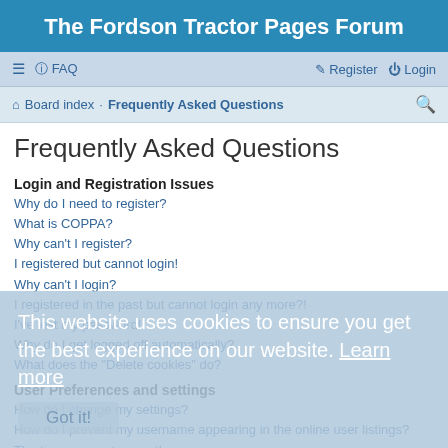The Fordson Tractor Pages Forum
≡  FAQ  Register  Login
Board index · Frequently Asked Questions
Frequently Asked Questions
Login and Registration Issues
Why do I need to register?
What is COPPA?
Why can't I register?
I registered but cannot login!
Why can't I login?
I registered in the past but cannot login any more?!
I've lost my password!
Why do I get logged off automatically?
What does the "Delete cookies" do?
User Preferences and settings
How do I change my settings?
How do I prevent my username appearing in the online user listings?
The times are not correct!
I changed the timezone and the time is still wrong!
My language is not in the list!
What are the images next to my username?
This website uses cookies to ensure you get the best experience on our website. Learn more